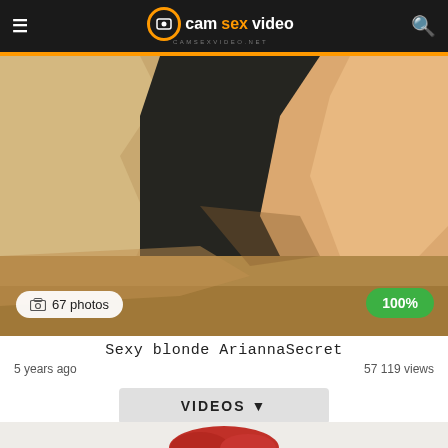camsexvideo CAMSEXVIDEO.NET
[Figure (photo): Outdoor photo showing legs of a person against rocky terrain and a dark block/wall background, with ground visible at bottom]
67 photos | 100%
Sexy blonde AriannaSecret
5 years ago | 57 119 views
VIDEOS
[Figure (photo): Bottom portion of page showing top of a red-haired person against a light background]